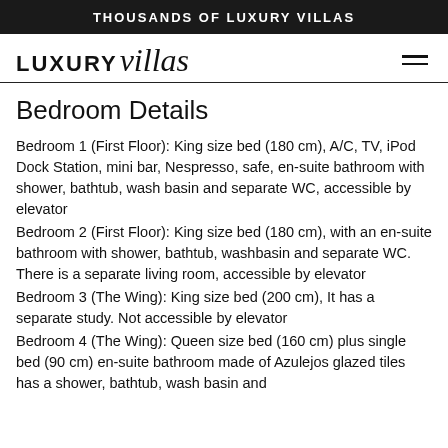THOUSANDS OF LUXURY VILLAS
[Figure (logo): LUXURYvillas logo with hamburger menu icon]
Bedroom Details
Bedroom 1 (First Floor): King size bed (180 cm), A/C, TV, iPod Dock Station, mini bar, Nespresso, safe, en-suite bathroom with shower, bathtub, wash basin and separate WC, accessible by elevator
Bedroom 2 (First Floor): King size bed (180 cm), with an en-suite bathroom with shower, bathtub, washbasin and separate WC. There is a separate living room, accessible by elevator
Bedroom 3 (The Wing): King size bed (200 cm), It has a separate study. Not accessible by elevator
Bedroom 4 (The Wing): Queen size bed (160 cm) plus single bed (90 cm) en-suite bathroom made of Azulejos glazed tiles has a shower, bathtub, wash basin and